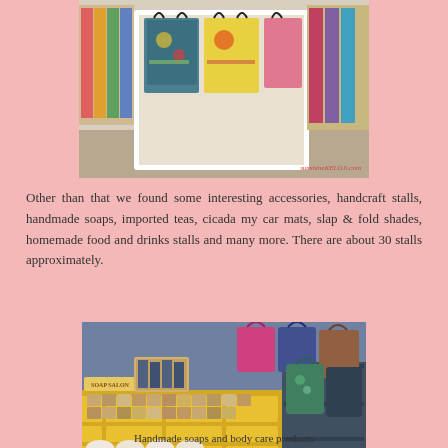[Figure (photo): A shop display showing colorful tote bags and accessories on a white shelf/rack, with a brown paper bag on the right. Watermark reads sunshineKELOJi.com]
Other than that we found some interesting accessories, handcraft stalls, handmade soaps, imported teas, cicada my car mats, slap & fold shades, homemade food and drinks stalls and many more. There are about 30 stalls approximately.
[Figure (photo): A market stall showing handmade soaps and body care products displayed on yellow wooden shelving in the foreground, with colorful handbags and accessories displayed behind. A sign reads SOAP SALON. Watermark reads sunshineKELOJi.com]
Handmade soaps and body care products